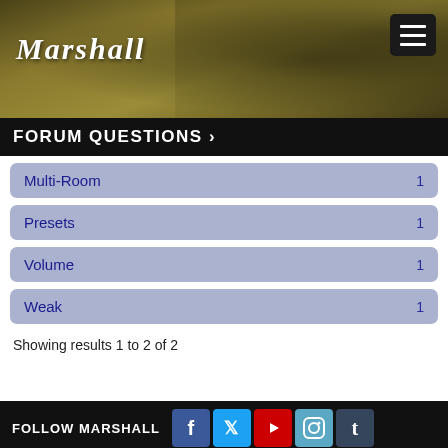[Figure (photo): Marshall amplifier brand header image with guitar player silhouette in olive/golden tones, Marshall logo on left, hamburger menu button on right]
FORUM QUESTIONS >
Multi-Room  1
Presets  1
Volume  1
Weak  1
Showing results 1 to 2 of 2
FOLLOW MARSHALL [social icons: Facebook, Twitter, YouTube, Instagram, Tumblr]
© 1997-2022 Marshall Amplification PLC. Full Rights Reserved. • Terms of Use • Privacy Policy & Cookies